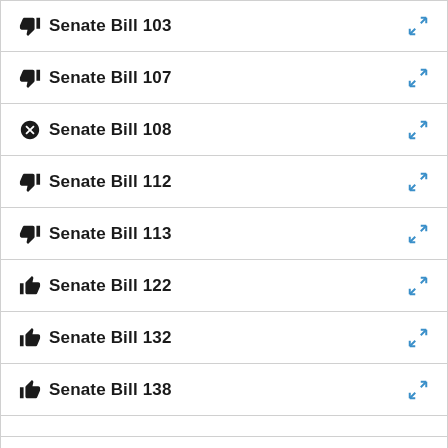Senate Bill 103
Senate Bill 107
Senate Bill 108
Senate Bill 112
Senate Bill 113
Senate Bill 122
Senate Bill 132
Senate Bill 138